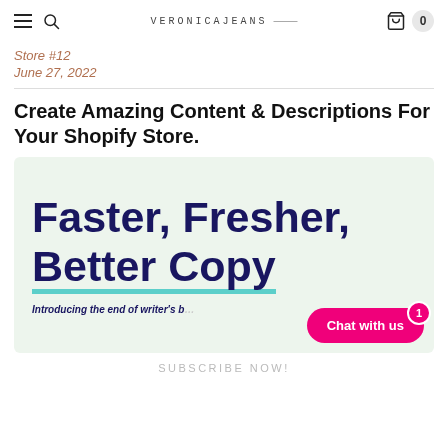VERONICAJEANS — (navigation bar with hamburger, search, logo, bag icon, cart count 0)
Store #12
June 27, 2022
Create Amazing Content & Descriptions For Your Shopify Store.
[Figure (illustration): Promotional banner with light green background showing large bold dark navy text 'Faster, Fresher, Better Copy' with a teal underline under 'Better Copy', and italic bold text 'Introducing the end of writer's b[lock]'. A pink chat button overlay reads 'Chat with us' with a red badge showing '1'.]
SUBSCRIBE NOW!